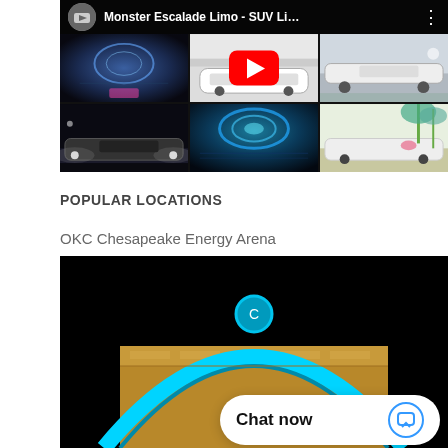[Figure (screenshot): YouTube video thumbnail for 'Monster Escalade Limo - SUV Li...' showing a grid of limo images with a red play button in the center]
POPULAR LOCATIONS
OKC Chesapeake Energy Arena
[Figure (photo): Night photo of OKC Chesapeake Energy Arena showing the blue arc lighting on the building facade]
Chat now